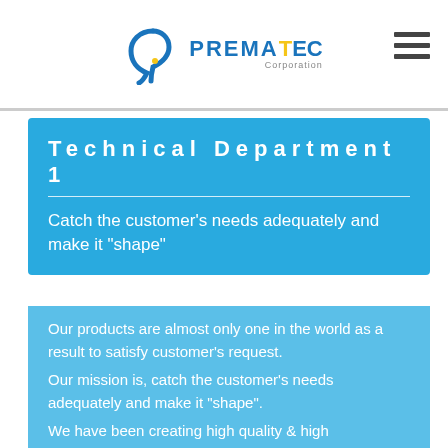PREMATEC Corporation
Technical Department 1
Catch the customer's needs adequately and make it "shape"
Our products are almost only one in the world as a result to satisfy customer's request.
Our mission is, catch the customer's needs adequately and make it "shape".
We have been creating high quality & high performance products by our know-how and ideas.